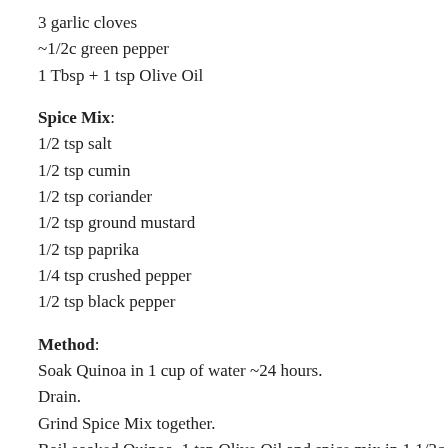3 garlic cloves
~1/2c green pepper
1 Tbsp + 1 tsp Olive Oil
Spice Mix:
1/2 tsp salt
1/2 tsp cumin
1/2 tsp coriander
1/2 tsp ground mustard
1/2 tsp paprika
1/4 tsp crushed pepper
1/2 tsp black pepper
Method:
Soak Quinoa in 1 cup of water ~24 hours.
Drain.
Grind Spice Mix together.
Boil soaked Quinoa, 1 tsp Olive Oil and spice mix in 1 1/2c of water.